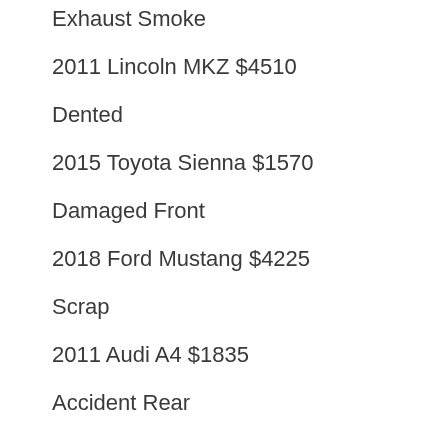Exhaust Smoke
2011 Lincoln MKZ $4510
Dented
2015 Toyota Sienna $1570
Damaged Front
2018 Ford Mustang $4225
Scrap
2011 Audi A4 $1835
Accident Rear
2001 Jeep Laredo Cherokee $4330
Engine Starts
2014 Toyota RAV4 $3420
Damaged Rear